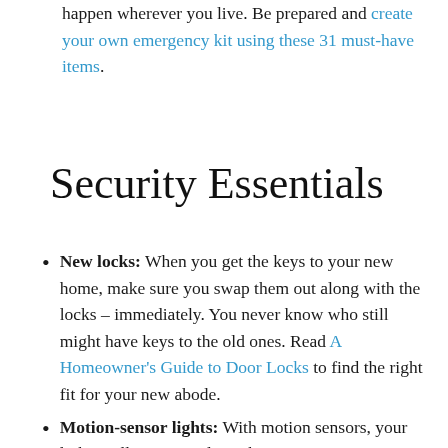happen wherever you live. Be prepared and create your own emergency kit using these 31 must-have items.
Security Essentials
New locks: When you get the keys to your new home, make sure you swap them out along with the locks – immediately. You never know who still might have keys to the old ones. Read A Homeowner's Guide to Door Locks to find the right fit for your new abode.
Motion-sensor lights: With motion sensors, your lights will act as an alarm that attracts attention to the area if there's an intruder...